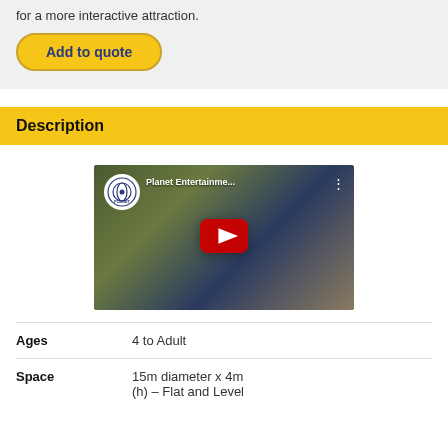for a more interactive attraction.
Add to quote
Description
[Figure (screenshot): YouTube video thumbnail for Planet Entertainment channel showing an outdoor event/fair scene with colorful tents and people. Title reads 'Planet Entertainme...']
| Field | Value |
| --- | --- |
| Ages | 4 to Adult |
| Space | 15m diameter x 4m (h) – Flat and Level |